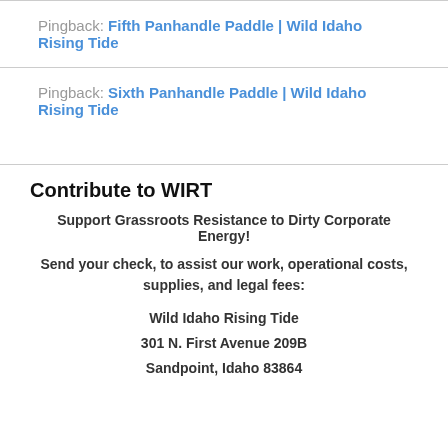Pingback: Fifth Panhandle Paddle | Wild Idaho Rising Tide
Pingback: Sixth Panhandle Paddle | Wild Idaho Rising Tide
Contribute to WIRT
Support Grassroots Resistance to Dirty Corporate Energy!
Send your check, to assist our work, operational costs, supplies, and legal fees:
Wild Idaho Rising Tide
301 N. First Avenue 209B
Sandpoint, Idaho 83864